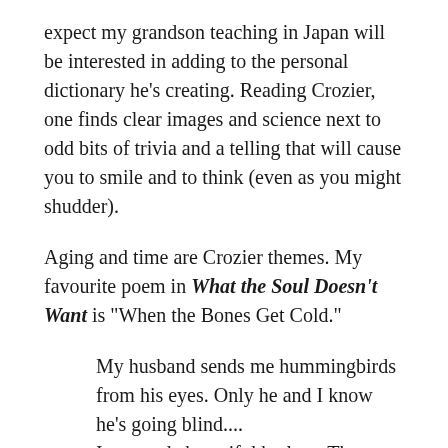expect my grandson teaching in Japan will be interested in adding to the personal dictionary he's creating. Reading Crozier, one finds clear images and science next to odd bits of trivia and a telling that will cause you to smile and to think (even as you might shudder).
Aging and time are Crozier themes. My favourite poem in What the Soul Doesn't Want is "When the Bones Get Cold."
My husband sends me hummingbirds
from his eyes. Only he and I know
he's going blind....
I am made beautiful by loss. The moon, too,
...